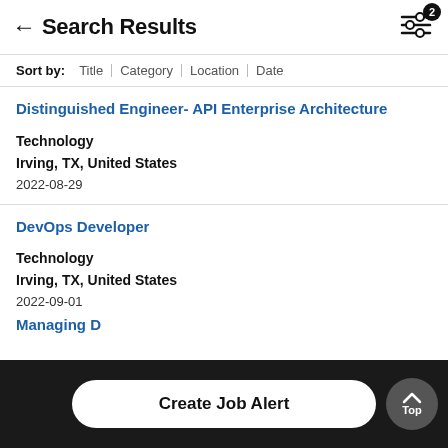Search Results
Sort by: Title | Category | Location | Date
Distinguished Engineer- API Enterprise Architecture
Technology
Irving, TX, United States
2022-08-29
DevOps Developer
Technology
Irving, TX, United States
2022-09-01
Managing [Director/...]
Create Job Alert